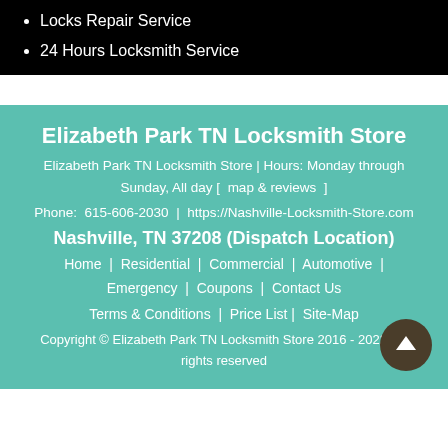Locks Repair Service
24 Hours Locksmith Service
Elizabeth Park TN Locksmith Store
Elizabeth Park TN Locksmith Store | Hours: Monday through Sunday, All day [  map & reviews  ]
Phone:  615-606-2030  |  https://Nashville-Locksmith-Store.com
Nashville, TN 37208 (Dispatch Location)
Home  |  Residential  |  Commercial  |  Automotive  |  Emergency  |  Coupons  |  Contact Us
Terms & Conditions  |  Price List |  Site-Map
Copyright © Elizabeth Park TN Locksmith Store 2016 - 2022. All rights reserved